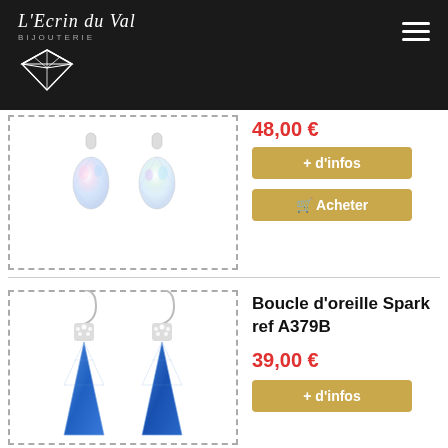L'Ecrin du Val BIJOUTERIE
[Figure (photo): Two iridescent crystal teardrop earrings with silver tops, displayed side by side on white background, inside a dashed border box]
48,00 €
+ d'infos
Acheter
Boucle d'oreille Spark ref A379B
39,00 €
+ d'infos